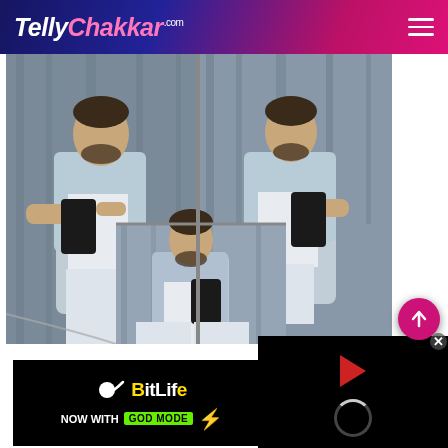TellyChakkar.com
[Figure (photo): A man in a denim jacket and white outfit taking mirror selfies — collage of 3 photos showing the same person from different angles]
ADVERTISEMENT
[Figure (screenshot): BitLife app advertisement banner: 'NOW WITH GOD MODE' with lightning bolt graphic]
[Figure (screenshot): Video player overlay in black with red play button and loading spinner]